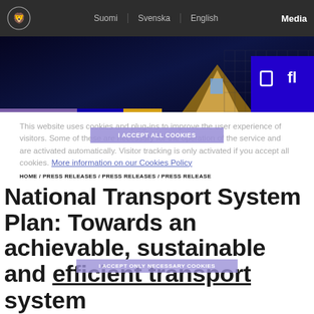Suomi / Svenska / English / Media
[Figure (screenshot): Finnish government website navigation bar with logo, language links (Suomi, Svenska, English), Media link, hero image of building, purple/blue/gold accent bars, and blue box with icons]
This website uses cookies and plug-ins to improve the user experience of visitors. Some of these are necessary for the operation of the service and are activated automatically. Visitor tracking is only activated if you accept all cookies. More information on our Cookies Policy
I ACCEPT ALL COOKIES
HOME / PRESS RELEASES / PRESS RELEASES / PRESS RELEASE
I ACCEPT ONLY NECESSARY COOKIES
National Transport System Plan: Towards an achievable, sustainable and efficient transport system